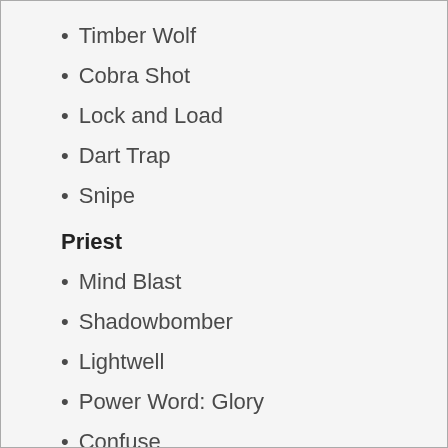Timber Wolf
Cobra Shot
Lock and Load
Dart Trap
Snipe
Priest
Mind Blast
Shadowbomber
Lightwell
Power Word: Glory
Confuse